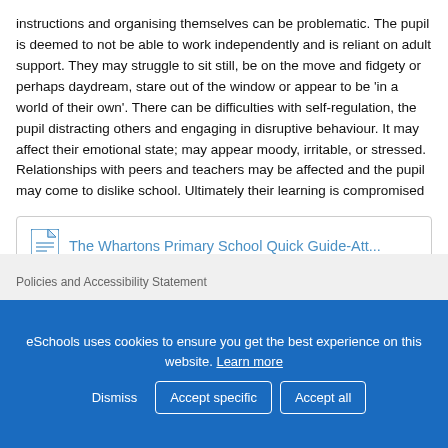instructions and organising themselves can be problematic. The pupil is deemed to not be able to work independently and is reliant on adult support. They may struggle to sit still, be on the move and fidgety or perhaps daydream, stare out of the window or appear to be 'in a world of their own'. There can be difficulties with self-regulation, the pupil distracting others and engaging in disruptive behaviour. It may affect their emotional state; may appear moody, irritable, or stressed. Relationships with peers and teachers may be affected and the pupil may come to dislike school. Ultimately their learning is compromised
[Figure (other): PDF link box with icon linking to 'The Whartons Primary School Quick Guide-Att...']
Policies and Accessibility Statement
eSchools uses cookies to ensure you get the best experience on this website. Learn more